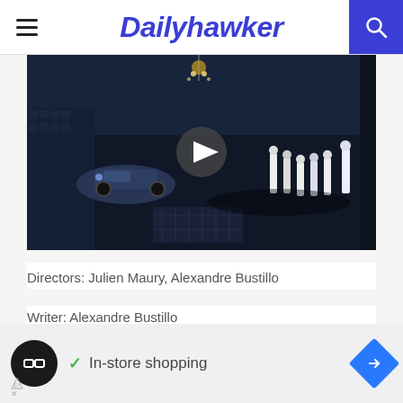Dailyhawker
[Figure (screenshot): Dark cinematic video thumbnail showing figures in a dim corridor with a vehicle; play button overlay in center]
Directors: Julien Maury, Alexandre Bustillo
Writer: Alexandre Bustillo
Cast: Béatrice Dalle, Alysson Paradis
[Figure (infographic): Advertisement banner: circular logo, checkmark with 'In-store shopping' text, and a blue diamond arrow icon]